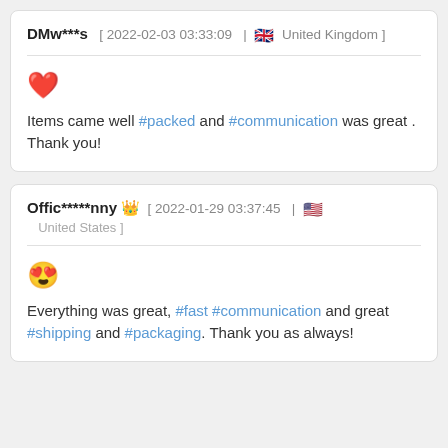DMw***s [ 2022-02-03 03:33:09 | 🇬🇧 United Kingdom ]
❤️ Items came well #packed and #communication was great . Thank you!
Offic*****nny 👑 [ 2022-01-29 03:37:45 | 🇺🇸 United States ]
😍 Everything was great, #fast #communication and great #shipping and #packaging. Thank you as always!